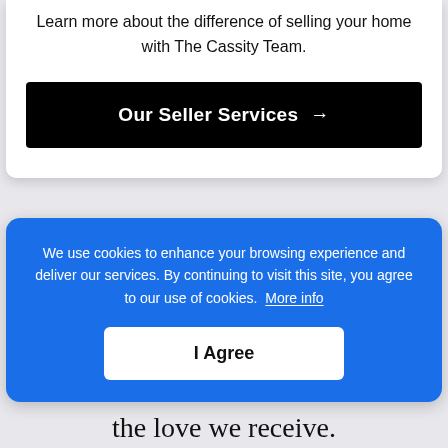Learn more about the difference of selling your home with The Cassity Team.
Our Seller Services →
We use cookies to enhance your browsing experience and deliver our services. By continuing to visit this site, you agree to our use of cookies. More info
I Agree
the love we receive.